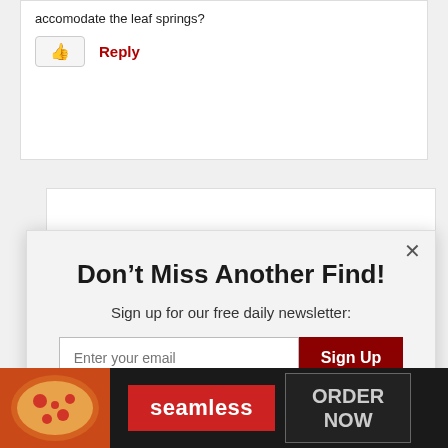accomodate the leaf springs?
Reply
Don’t Miss Another Find!
Sign up for our free daily newsletter:
Enter your email
Sign Up
Unsubscribe anytime
Sedan de Ville. Harper did conversions on both styles and you could order the 2-way
[Figure (screenshot): Seamless food delivery ad banner with pizza image, seamless logo button, and ORDER NOW button]